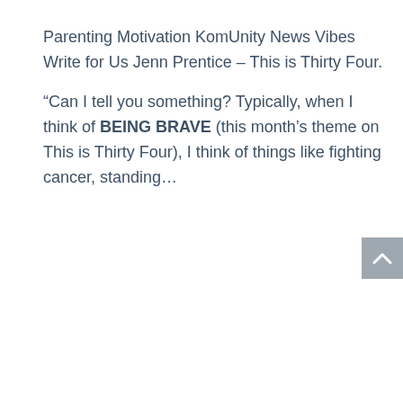Parenting Motivation KomUnity News Vibes Write for Us Jenn Prentice – This is Thirty Four.
“Can I tell you something? Typically, when I think of BEING BRAVE (this month’s theme on This is Thirty Four), I think of things like fighting cancer, standing…